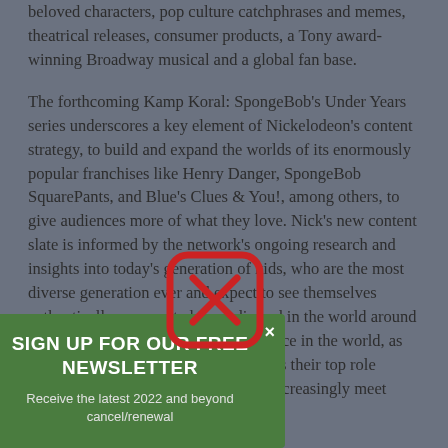beloved characters, pop culture catchphrases and memes, theatrical releases, consumer products, a Tony award-winning Broadway musical and a global fan base.
The forthcoming Kamp Koral: SpongeBob's Under Years series underscores a key element of Nickelodeon's content strategy, to build and expand the worlds of its enormously popular franchises like Henry Danger, SpongeBob SquarePants, and Blue's Clues & You!, among others, to give audiences more of what they love. Nick's new content slate is informed by the network's ongoing research and insights into today's generation of kids, who are the most diverse generation ever and expect to see themselves authentically represented in media and in the world around them, want to make a positive difference in the world, as they also consider social media stars as their top role models, alongside their parents, and increasingly meet their much-desired need
[Figure (other): Newsletter signup popup overlay with green background, showing 'SIGN UP FOR OUR FREE NEWSLETTER' title and text 'Receive the latest 2022 and beyond cancel/renewal', with a close X button and a red rounded square icon overlay]